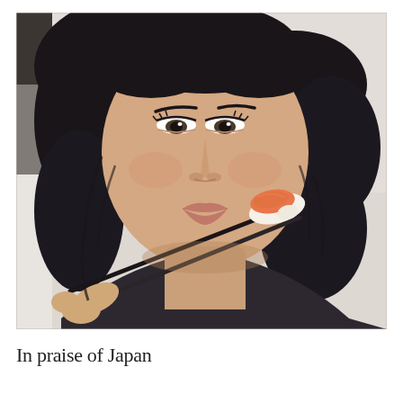[Figure (photo): A woman with dark hair holding a piece of salmon nigiri sushi with black chopsticks up to her mouth, about to eat it. She is wearing a dark top. The background is light/white. Close-up selfie-style photo.]
In praise of Japan